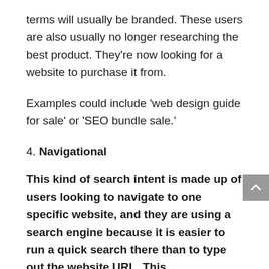terms will usually be branded. These users are also usually no longer researching the best product. They’re now looking for a website to purchase it from.
Examples could include ‘web design guide for sale’ or ‘SEO bundle sale.’
4. Navigational
This kind of search intent is made up of users looking to navigate to one specific website, and they are using a search engine because it is easier to run a quick search there than to type out the website URL. This